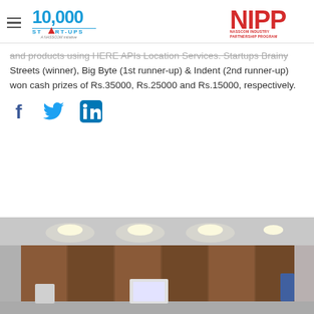10,000 Startups - A NASSCOM Initiative | NIPP - NASSCOM INDUSTRY PARTNERSHIP PROGRAM
and products using HERE APIs Location Services. Startups Brainy Streets (winner), Big Byte (1st runner-up) & Indent (2nd runner-up) won cash prizes of Rs.35000, Rs.25000 and Rs.15000, respectively.
[Figure (other): Social share icons: Facebook, Twitter, LinkedIn]
[Figure (photo): Indoor photo of an office or venue lobby with wooden panels and ceiling lights]